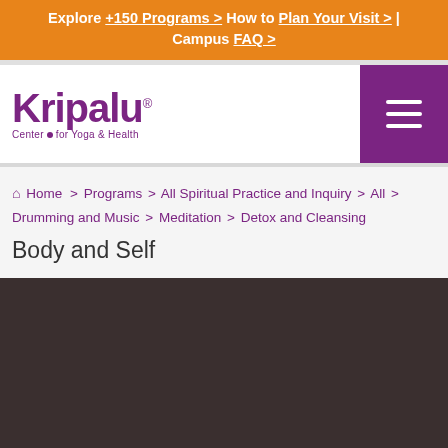Explore +150 Programs > How to Plan Your Visit > | Campus FAQ >
[Figure (logo): Kripalu Center for Yoga & Health logo with purple wordmark]
Home > Programs > All Spiritual Practice and Inquiry > All > Drumming and Music > Meditation > Detox and Cleansing
Body and Self
[Figure (photo): Dark brown/charcoal background section at bottom of page]